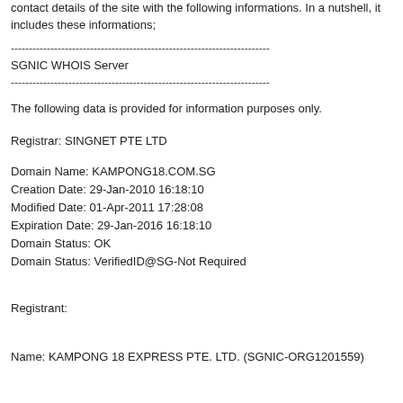contact details of the site with the following informations. In a nutshell, it includes these informations;
------------------------------------------------------------------------
SGNIC WHOIS Server
------------------------------------------------------------------------
The following data is provided for information purposes only.
Registrar: SINGNET PTE LTD
Domain Name: KAMPONG18.COM.SG
Creation Date: 29-Jan-2010 16:18:10
Modified Date: 01-Apr-2011 17:28:08
Expiration Date: 29-Jan-2016 16:18:10
Domain Status: OK
Domain Status: VerifiedID@SG-Not Required
Registrant:
Name: KAMPONG 18 EXPRESS PTE. LTD. (SGNIC-ORG1201559)